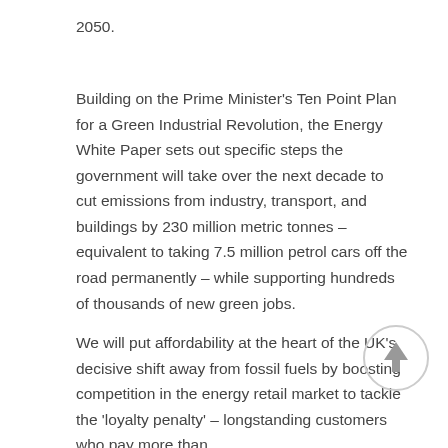2050.
Building on the Prime Minister's Ten Point Plan for a Green Industrial Revolution, the Energy White Paper sets out specific steps the government will take over the next decade to cut emissions from industry, transport, and buildings by 230 million metric tonnes – equivalent to taking 7.5 million petrol cars off the road permanently – while supporting hundreds of thousands of new green jobs.
We will put affordability at the heart of the UK's decisive shift away from fossil fuels by boosting competition in the energy retail market to tackle the 'loyalty penalty' – longstanding customers who pay more than